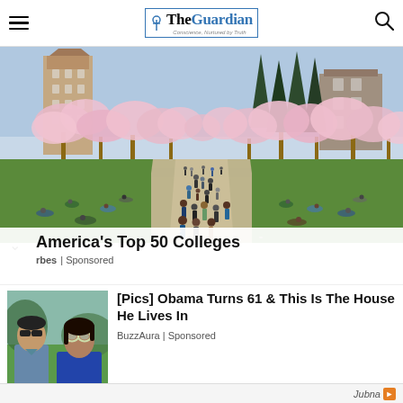The Guardian — Conscience, Nurtured by Truth
[Figure (photo): University campus quad with cherry blossom trees in full bloom, students walking along pathways and sitting on grass, historic brick buildings visible in the background]
America's Top 50 Colleges
rbes | Sponsored
[Figure (photo): Two people standing outdoors, one man wearing sunglasses and a denim shirt, one woman wearing sunglasses]
[Pics] Obama Turns 61 & This Is The House He Lives In
BuzzAura | Sponsored
Jubna